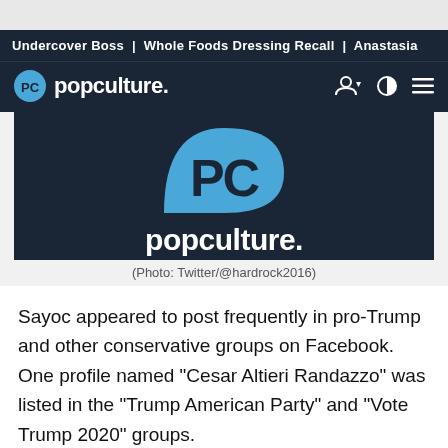Undercover Boss | Whole Foods Dressing Recall | Anastasia
[Figure (logo): Popculture.com website header with logo bar showing PC logo circle and 'popculture.' text, plus user/theme/menu icons]
[Figure (logo): Popculture.com branded image with large PC logo on dark navy background and 'popculture.' text below]
(Photo: Twitter/@hardrock2016)
Sayoc appeared to post frequently in pro-Trump and other conservative groups on Facebook. One profile named "Cesar Altieri Randazzo" was listed in the "Trump American Party" and "Vote Trump 2020" groups.